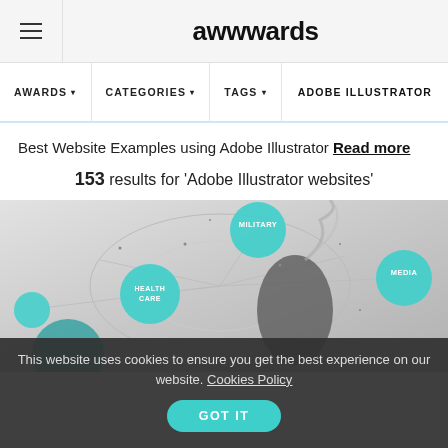awwwards
AWARDS ▼   CATEGORIES ▼   TAGS ▼   ADOBE ILLUSTRATOR
Best Website Examples using Adobe Illustrator Read more
153 results for 'Adobe Illustrator websites'
[Figure (screenshot): A bubble/network visualization with teal circles labeled MILITARY, HEALTHCARE, MEDIA and a figure of a person with flowing smoke]
This website uses cookies to ensure you get the best experience on our website. Cookies Policy  GOT IT